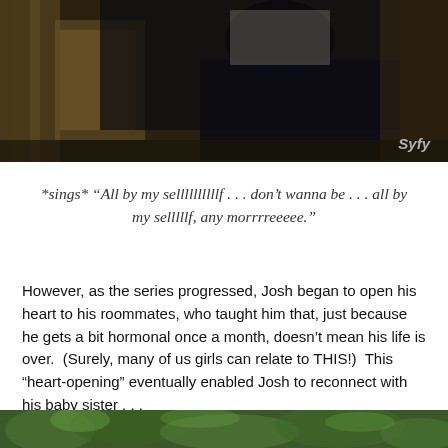[Figure (photo): Dark scene from a TV show with a person in a dimly lit room, Syfy watermark in bottom right corner]
*sings* “All by my sellllllllllf . . . don’t wanna be . . . all by my selllllf, any morrrreeeee.”
However, as the series progressed, Josh began to open his heart to his roommates, who taught him that, just because he gets a bit hormonal once a month, doesn’t mean his life is over.  (Surely, many of us girls can relate to THIS!)  This “heart-opening” eventually enabled Josh to reconnect with his baby sister . . .
[Figure (photo): Outdoor scene with greenery visible at the bottom of the page]